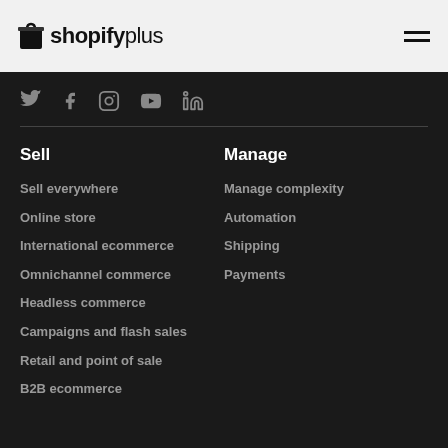[Figure (logo): Shopify Plus logo with shopping bag icon]
[Figure (infographic): Social media icons: Twitter, Facebook, Instagram, YouTube, LinkedIn]
Sell
Manage
Sell everywhere
Manage complexity
Online store
Automation
International ecommerce
Shipping
Omnichannel commerce
Payments
Headless commerce
Campaigns and flash sales
Retail and point of sale
B2B ecommerce